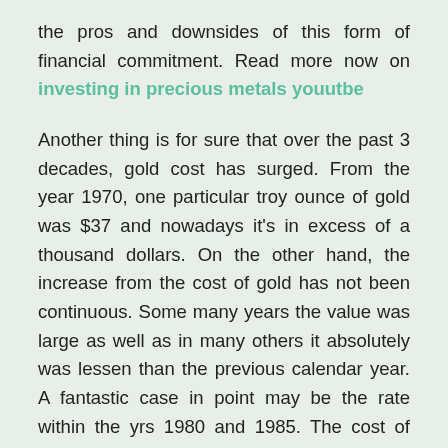the pros and downsides of this form of financial commitment. Read more now on investing in precious metals youutbe
Another thing is for sure that over the past 3 decades, gold cost has surged. From the year 1970, one particular troy ounce of gold was $37 and nowadays it's in excess of a thousand dollars. On the other hand, the increase from the cost of gold has not been continuous. Some many years the value was large as well as in many others it absolutely was lessen than the previous calendar year. A fantastic case in point may be the rate within the yrs 1980 and 1985. The cost of gold from the 12 months 1980 was $590 to get a troy ounce, after which during the year 1985, the value lessened to $327. Though the price has long been fluctuating over the complete the worth of